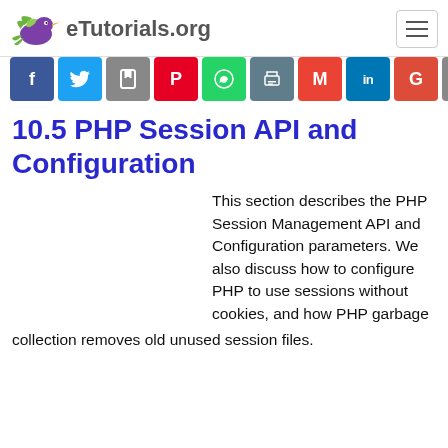eTutorials.org
[Figure (infographic): Social sharing bar with icons: Facebook, Twitter, Save, Pinterest, WhatsApp, Print, Gmail, LinkedIn, Google+, More]
10.5 PHP Session API and Configuration
This section describes the PHP Session Management API and Configuration parameters. We also discuss how to configure PHP to use sessions without cookies, and how PHP garbage collection removes old unused session files.